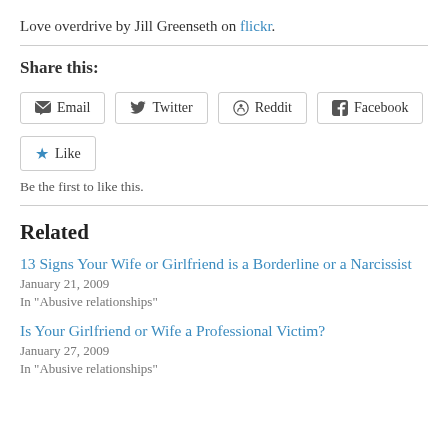Love overdrive by Jill Greenseth on flickr.
Share this:
Email  Twitter  Reddit  Facebook
Like  Be the first to like this.
Related
13 Signs Your Wife or Girlfriend is a Borderline or a Narcissist
January 21, 2009
In "Abusive relationships"
Is Your Girlfriend or Wife a Professional Victim?
January 27, 2009
In "Abusive relationships"